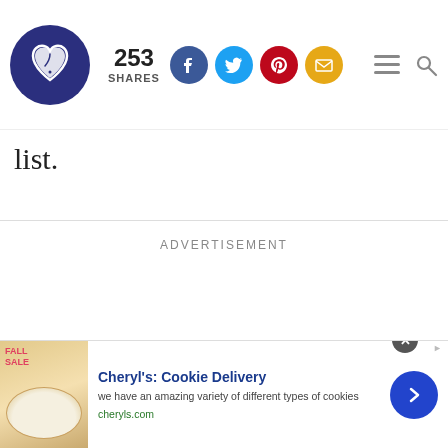Logo | 253 SHARES | Social icons | Menu | Search
list.
ADVERTISEMENT
[Figure (other): Advertisement banner for Cheryl's Cookie Delivery with cookie image, title, description and arrow button]